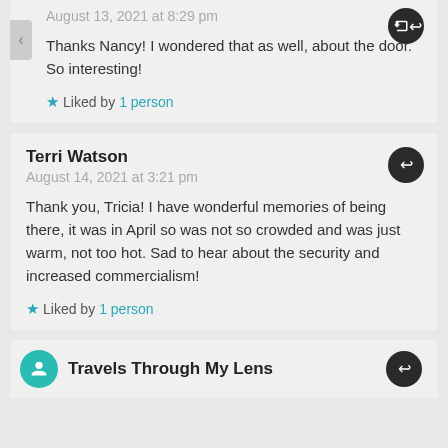August 13, 2021 at 8:29 pm
Thanks Nancy! I wondered that as well, about the door. So interesting!
Liked by 1 person
Terri Watson
August 14, 2021 at 3:21 pm
Thank you, Tricia! I have wonderful memories of being there, it was in April so was not so crowded and was just warm, not too hot. Sad to hear about the security and increased commercialism!
Liked by 1 person
Travels Through My Lens